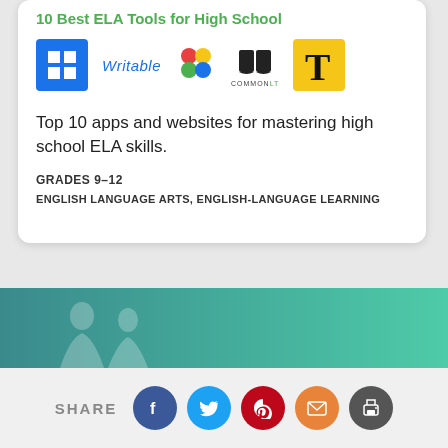10 Best ELA Tools for High School
[Figure (logo): Row of logos: blue grid logo, Writable wordmark, colorful dots logo, CommonLit book logo, New York Times T logo on yellow background]
Top 10 apps and websites for mastering high school ELA skills.
GRADES 9–12
ENGLISH LANGUAGE ARTS, ENGLISH-LANGUAGE LEARNING
[Figure (photo): Teal/green gradient banner with faint silhouette of a person]
SHARE